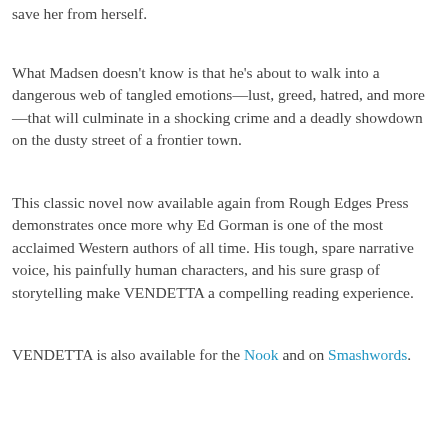save her from herself.
What Madsen doesn't know is that he's about to walk into a dangerous web of tangled emotions—lust, greed, hatred, and more—that will culminate in a shocking crime and a deadly showdown on the dusty street of a frontier town.
This classic novel now available again from Rough Edges Press demonstrates once more why Ed Gorman is one of the most acclaimed Western authors of all time. His tough, spare narrative voice, his painfully human characters, and his sure grasp of storytelling make VENDETTA a compelling reading experience.
VENDETTA is also available for the Nook and on Smashwords.